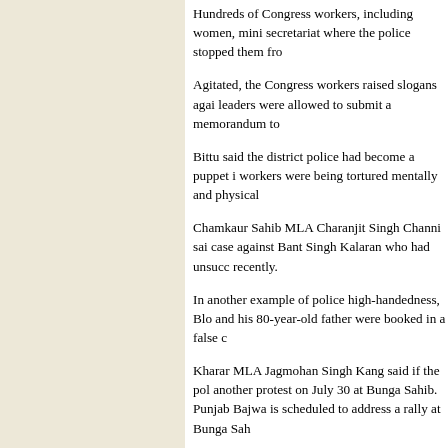Hundreds of Congress workers, including women, mini secretariat where the police stopped them from
Agitated, the Congress workers raised slogans against leaders were allowed to submit a memorandum to
Bittu said the district police had become a puppet in workers were being tortured mentally and physically.
Chamkaur Sahib MLA Charanjit Singh Channi said case against Bant Singh Kalaran who had unsuccessfully recently.
In another example of police high-handedness, Blo and his 80-year-old father were booked in a false c
Kharar MLA Jagmohan Singh Kang said if the po another protest on July 30 at Bunga Sahib. Punjab Bajwa is scheduled to address a rally at Bunga Sah
CVC probe soug
The Congress has sought a probe by the Central Vi the SAD-BJP government in the purchase of a heli Sukhpal Khaira said the state government had puro "Throwing all norms to the winds, the government manufacturers for purchasing the helicopter. The g tenders," he said.